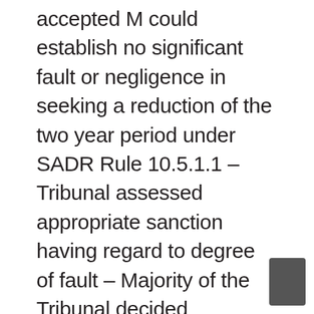accepted M could establish no significant fault or negligence in seeking a reduction of the two year period under SADR Rule 10.5.1.1 –Tribunal assessed appropriate sanction having regard to degree of fault – Majority of the Tribunal decided appropriate period of ineligibility was 12 months – normal degree of fault – suffered asthma since childhood – advised doctor he was subject to anti-doping rules – no further enquiry made of medication – understood obligations as had previously obtained TUE for medication – tested previously without positive result while using inhaler – attendance at anti-doping seminars – M did not consider status of his inhaler use – suspension backdated to date of testing – tim admission